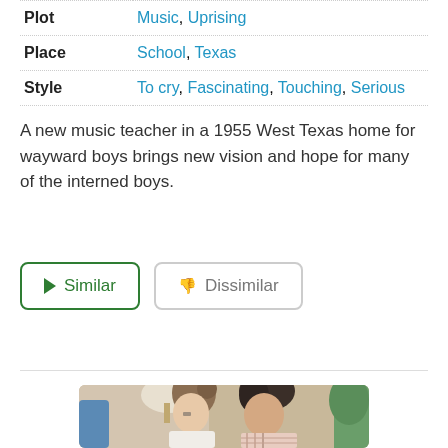| Category | Value |
| --- | --- |
| Plot | Music, Uprising |
| Place | School, Texas |
| Style | To cry, Fascinating, Touching, Serious |
A new music teacher in a 1955 West Texas home for wayward boys brings new vision and hope for many of the interned boys.
[Figure (photo): Two people facing each other in close conversation — a woman with hair up and a man in a plaid shirt, indoor setting with soft lighting]